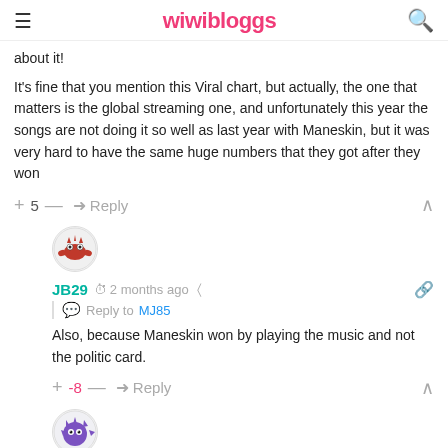wiwibloggs
about it!
It's fine that you mention this Viral chart, but actually, the one that matters is the global streaming one, and unfortunately this year the songs are not doing it so well as last year with Maneskin, but it was very hard to have the same huge numbers that they got after they won
+ 5 — ➜ Reply
JB29 · 2 months ago · Reply to MJ85
Also, because Maneskin won by playing the music and not the politic card.
+ -8 — ➜ Reply